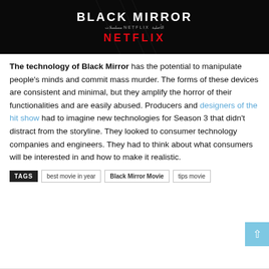[Figure (photo): Black Mirror Netflix promotional image on dark background showing 'BLACK MIRROR' title in white bold text, Arabic subtitle text, and 'NETFLIX' in red bold letters]
The technology of Black Mirror has the potential to manipulate people's minds and commit mass murder. The forms of these devices are consistent and minimal, but they amplify the horror of their functionalities and are easily abused. Producers and designers of the hit show had to imagine new technologies for Season 3 that didn't distract from the storyline. They looked to consumer technology companies and engineers. They had to think about what consumers will be interested in and how to make it realistic.
TAGS  best movie in year  Black Mirror Movie  tips movie